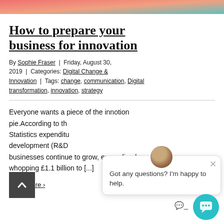[Figure (photo): Decorative top banner image with coral, peach and teal gradient tones]
How to prepare your business for innovation
By Sophie Fraser | Friday, August 30, 2019 | Categories: Digital Change & Innovation | Tags: change, communication, Digital transformation, innovation, strategy
Everyone wants a piece of the innovation pie. According to the Statistics expenditure on research and development (R&D) businesses continue to grow, expanding by a whopping £1.1 billion to [...]
Read More ›